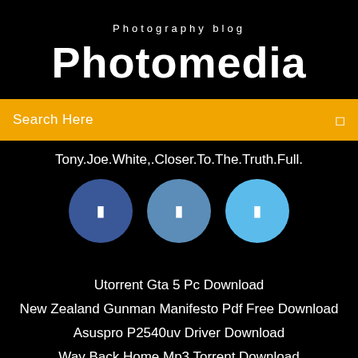Photography blog
Photomedia
Search Here
Tony.Joe.White,.Closer.To.The.Truth.Full.
[Figure (other): Three social media circles: dark blue, medium blue, light blue, each with a small icon]
Utorrent Gta 5 Pc Download
New Zealand Gunman Manifesto Pdf Free Download
Asuspro P2540uv Driver Download
Way Back Home Mp3 Torrent Download